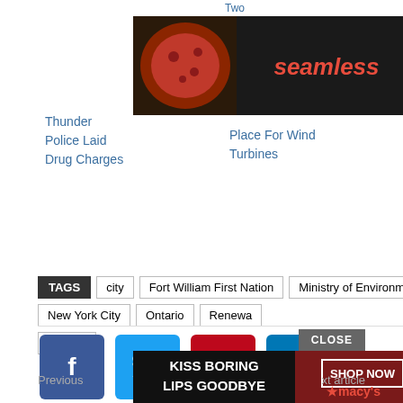Two    Forward"
[Figure (screenshot): Seamless food delivery advertisement banner with pizza image, Seamless logo in red italic, and ORDER NOW button]
Thunder  Police Laid Drug Charges
Place For Wind Turbines
[Figure (logo): Enhanced by Zemanta logo with broken image icon]
TAGS  city  Fort William First Nation  Ministry of Environment  New York City  Ontario  Renewa...  Toronto
[Figure (screenshot): Black video overlay with circular loading spinner]
f  t  p  in (social share buttons)
CLOSE
[Figure (screenshot): Kiss Boring Lips Goodbye Macy's advertisement banner with SHOP NOW button]
Previous article
Next article